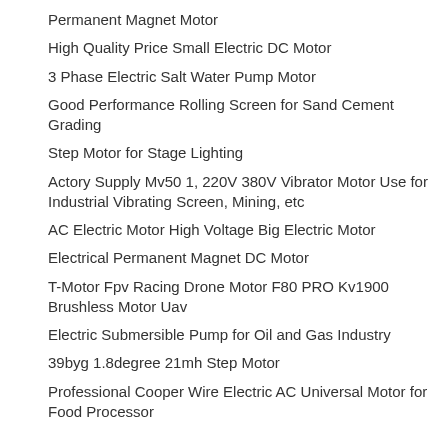Permanent Magnet Motor
High Quality Price Small Electric DC Motor
3 Phase Electric Salt Water Pump Motor
Good Performance Rolling Screen for Sand Cement Grading
Step Motor for Stage Lighting
Actory Supply Mv50 1, 220V 380V Vibrator Motor Use for Industrial Vibrating Screen, Mining, etc
AC Electric Motor High Voltage Big Electric Motor
Electrical Permanent Magnet DC Motor
T-Motor Fpv Racing Drone Motor F80 PRO Kv1900 Brushless Motor Uav
Electric Submersible Pump for Oil and Gas Industry
39byg 1.8degree 21mh Step Motor
Professional Cooper Wire Electric AC Universal Motor for Food Processor